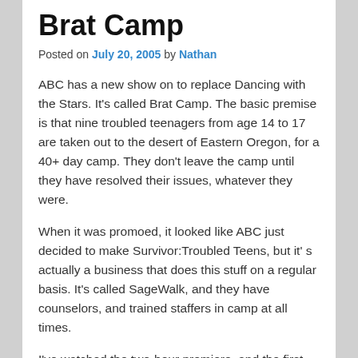Brat Camp
Posted on July 20, 2005 by Nathan
ABC has a new show on to replace Dancing with the Stars. It's called Brat Camp. The basic premise is that nine troubled teenagers from age 14 to 17 are taken out to the desert of Eastern Oregon, for a 40+ day camp. They don’t leave the camp until they have resolved their issues, whatever they were.
When it was promoed, it looked like ABC just decided to make Survivor:Troubled Teens, but it’ s actually a business that does this stuff on a regular basis. It's called SageWalk, and they have counselors, and trained staffers in camp at all times.
I’ve watched the two-hour premiere, and the first episode this week, earlier tonight. I think that it will turn out to be a good program, and I will definitely keep watching. There’s a bit of drama added into the promos that doesn’t actually